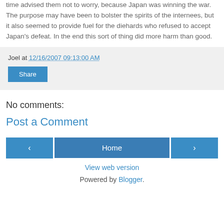time advised them not to worry, because Japan was winning the war. The purpose may have been to bolster the spirits of the internees, but it also seemed to provide fuel for the diehards who refused to accept Japan's defeat. In the end this sort of thing did more harm than good.
Joel at 12/16/2007 09:13:00 AM
Share
No comments:
Post a Comment
‹
Home
›
View web version
Powered by Blogger.